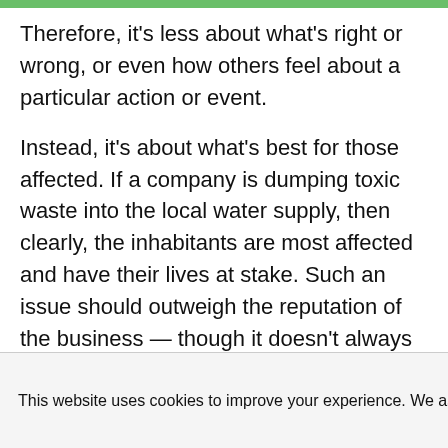Therefore, it's less about what's right or wrong, or even how others feel about a particular action or event.
Instead, it's about what's best for those affected. If a company is dumping toxic waste into the local water supply, then clearly, the inhabitants are most affected and have their lives at stake. Such an issue should outweigh the reputation of the business — though it doesn't always happen that way.
This website uses cookies to improve your experience. We assume you're ok with this. Accept Reject Read More